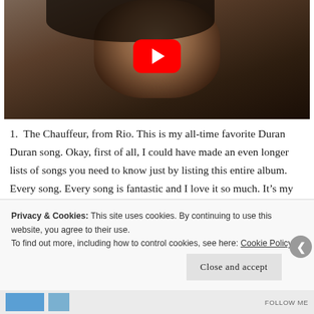[Figure (screenshot): YouTube video thumbnail showing a young person's face with dark hair. A red YouTube play button is centered over the image.]
1. The Chauffeur, from Rio. This is my all-time favorite Duran Duran song. Okay, first of all, I could have made an even longer lists of songs you need to know just by listing this entire album. Every song. Every song is fantastic and I love it so much. It's my favorite album of theirs and definitely
Privacy & Cookies: This site uses cookies. By continuing to use this website, you agree to their use.
To find out more, including how to control cookies, see here: Cookie Policy
Close and accept